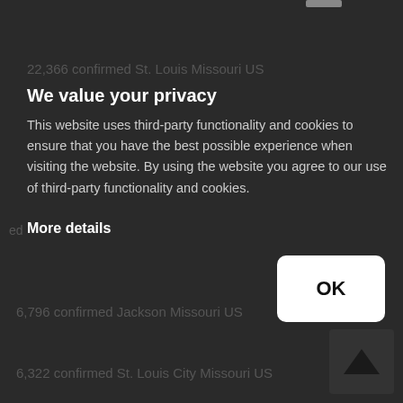22,366 confirmed St. Louis Missouri US
We value your privacy
This website uses third-party functionality and cookies to ensure that you have the best possible experience when visiting the website. By using the website you agree to our use of third-party functionality and cookies.
More details
8,796 confirmed Jackson Missouri US
6,322 confirmed St. Louis City Missouri US